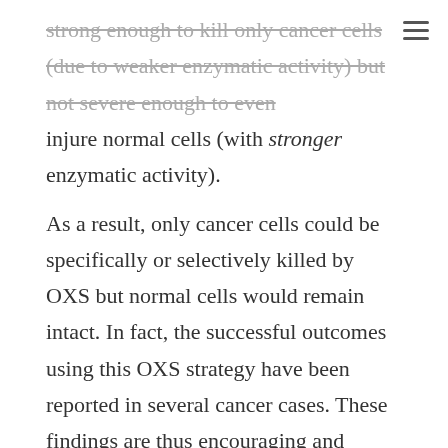strong enough to kill only cancer cells (due to weaker enzymatic activity) but not severe enough to even injure normal cells (with stronger enzymatic activity). As a result, only cancer cells could be specifically or selectively killed by OXS but normal cells would remain intact. In fact, the successful outcomes using this OXS strategy have been reported in several cancer cases. These findings are thus encouraging and tempting us to study if PE with possible prooxidant activity may have anticancer activity, inhibiting the growth of human bladder cancer cells. I am not really interested in fancy, expensive drugs, a variety of drug combinations, or novel therapeutic procedures, which thus far failed to